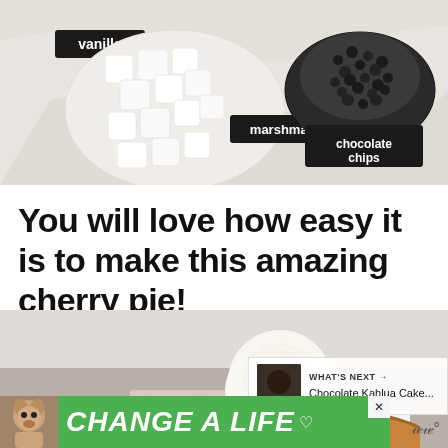[Figure (photo): Overhead photo of baking ingredients on a marble surface: marshmallows in a bowl with label 'marshmallows', chocolate chips in a dark bowl with label 'chocolate chips', and a label 'vanilla' on the left side]
You will love how easy it is to make this amazing cherry pie!
[Figure (photo): Close-up photo of a cherry pie slice served with a scoop of vanilla ice cream in a white dish, with a pink cloth napkin visible]
WHAT'S NEXT → Chocolate Kahlua Cake...
[Figure (photo): Advertisement banner with green background showing a dog and text 'CHANGE A LIFE' with a close button]